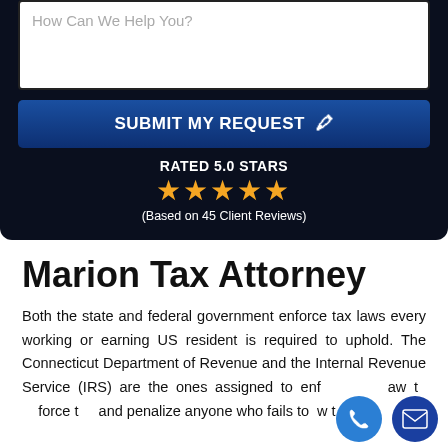How Can We Help You?
SUBMIT MY REQUEST
RATED 5.0 STARS
(Based on 45 Client Reviews)
Marion Tax Attorney
Both the state and federal government enforce tax laws every working or earning US resident is required to uphold. The Connecticut Department of Revenue and the Internal Revenue Service (IRS) are the ones assigned to enforce the law and penalize anyone who fails to follow t...